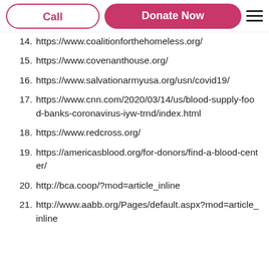Call | Donate Now
14. https://www.coalitionforthehomeless.org/
15. https://www.covenanthouse.org/
16. https://www.salvationarmyusa.org/usn/covid19/
17. https://www.cnn.com/2020/03/14/us/blood-supply-food-banks-coronavirus-iyw-trnd/index.html
18. https://www.redcross.org/
19. https://americasblood.org/for-donors/find-a-blood-center/
20. http://bca.coop/?mod=article_inline
21. http://www.aabb.org/Pages/default.aspx?mod=article_inline